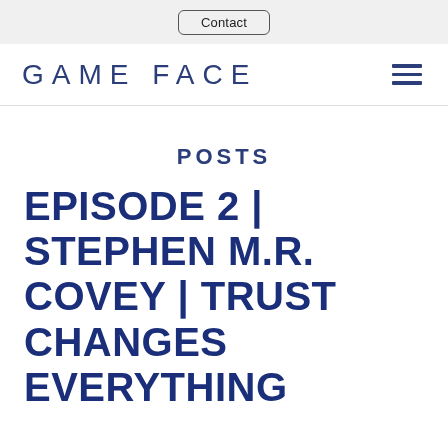Contact
GAME FACE
POSTS
EPISODE 2 | STEPHEN M.R. COVEY | TRUST CHANGES EVERYTHING